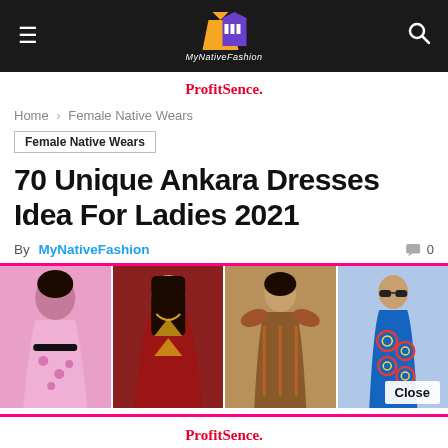MyNativeFashion — navigation bar with hamburger menu and search icon
ProfitSence.
Home › Female Native Wears
Female Native Wears
70 Unique Ankara Dresses Idea For Ladies 2021
By MyNativeFashion  💬 0
[Figure (photo): Collage of four women wearing ankara/native dresses: pink floral print dress, dark red/maroon kaftan with gold triangles, brown/gold ruffled dress, blue ankara print dress with circular patterns]
ProfitSence.